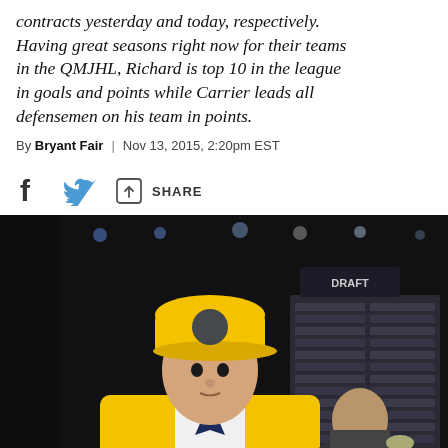contracts yesterday and today, respectively. Having great seasons right now for their teams in the QMJHL, Richard is top 10 in the league in goals and points while Carrier leads all defensemen on his team in points.
By Bryant Fair | Nov 13, 2015, 2:20pm EST
[Figure (other): Social share icons row: Facebook icon (f), Twitter bird icon, share/arrow icon followed by SHARE label]
[Figure (photo): Photo of a young man wearing a Nashville Predators yellow NHL jersey and yellow Predators cap at what appears to be an NHL Draft event. A 2:36 timer badge is visible in the top right corner of the image. The background shows a dark arena with lights and a draft board.]